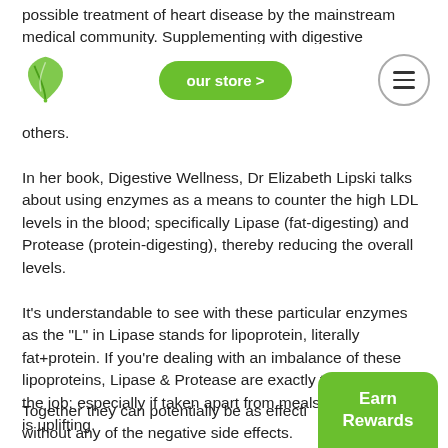possible treatment of heart disease by the mainstream medical community. Supplementing with digestive enzymes,
[Figure (logo): Green leaf/drop logo icon for a health/supplements website]
our store >
others.
In her book, Digestive Wellness, Dr Elizabeth Lipski talks about using enzymes as a means to counter the high LDL levels in the blood; specifically Lipase (fat-digesting) and Protease (protein-digesting), thereby reducing the overall levels.
It's understandable to see with these particular enzymes as the "L" in Lipase stands for lipoprotein, literally fat+protein. If you're dealing with an imbalance of these lipoproteins, Lipase & Protease are exactly the workers for the job; especially if taken apart from meals. The potential is uplifting.
Together they can potentially be as effecti rugs without any of the negative side effects.
Earn Rewards